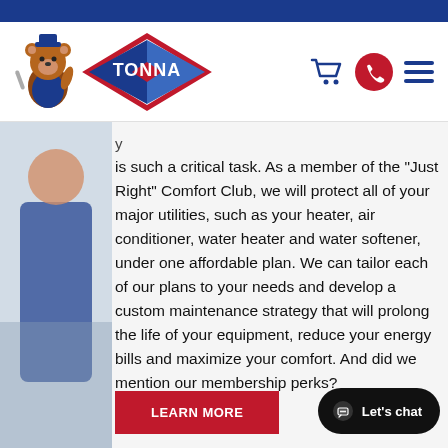[Figure (logo): Tonna HVAC company logo with bear mascot and diamond-shaped Tonna logo, plus shopping cart, phone, and hamburger menu icons in the header]
is such a critical task. As a member of the “Just Right” Comfort Club, we will protect all of your major utilities, such as your heater, air conditioner, water heater and water softener, under one affordable plan. We can tailor each of our plans to your needs and develop a custom maintenance strategy that will prolong the life of your equipment, reduce your energy bills and maximize your comfort. And did we mention our membership perks?
LEARN MORE
Let's chat